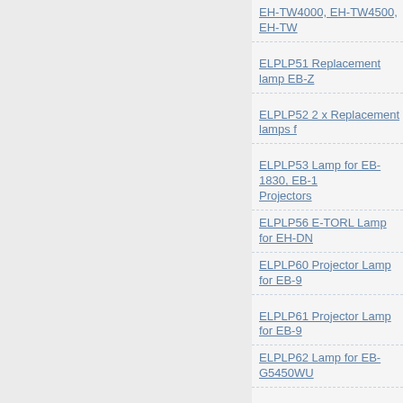EH-TW4000, EH-TW4500, EH-TW...
ELPLP51 Replacement lamp EB-Z...
ELPLP52 2 x Replacement lamps f...
ELPLP53 Lamp for EB-1830, EB-1... Projectors
ELPLP56 E-TORL Lamp for EH-DN...
ELPLP60 Projector Lamp for EB-95...
ELPLP61 Projector Lamp for EB-9...
ELPLP62 Lamp for EB-G5450WU...
ELPLP63 Lamp for EB-G5600 / G5...
ELPLP64 Projector Lamp
ELPLP65 Lamp
ELPLP67 Projector Lamp